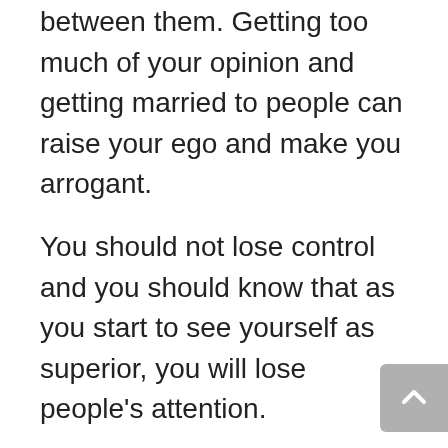between them. Getting too much of your opinion and getting married to people can raise your ego and make you arrogant.
You should not lose control and you should know that as you start to see yourself as superior, you will lose people’s attention.
You have a solid foundation and talents, you can achieve your dreams by working with discipline. Your colleagues see you as a leader, but it is not enough for other employees to want you to be a